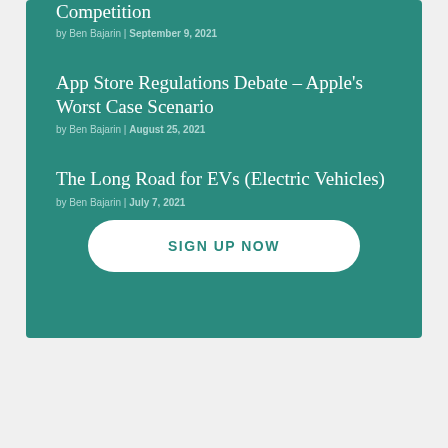Competition
by Ben Bajarin | September 9, 2021
App Store Regulations Debate – Apple's Worst Case Scenario
by Ben Bajarin | August 25, 2021
The Long Road for EVs (Electric Vehicles)
by Ben Bajarin | July 7, 2021
SIGN UP NOW